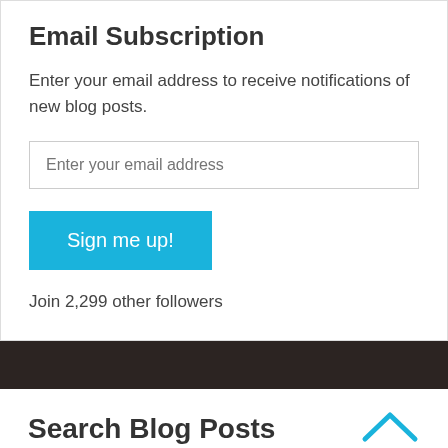Email Subscription
Enter your email address to receive notifications of new blog posts.
[Figure (screenshot): Email address input field with placeholder text 'Enter your email address']
[Figure (screenshot): Blue 'Sign me up!' button]
Join 2,299 other followers
Search Blog Posts
[Figure (screenshot): Search input field with placeholder 'Search ...' and blue 'Search' button]